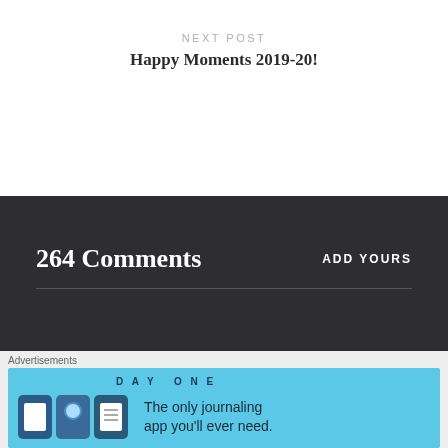NEXT POST
Happy Moments 2019-20!
264 Comments
ADD YOURS
[Figure (other): Advertisement banner for Day One journaling app with blue background and icons]
Advertisements